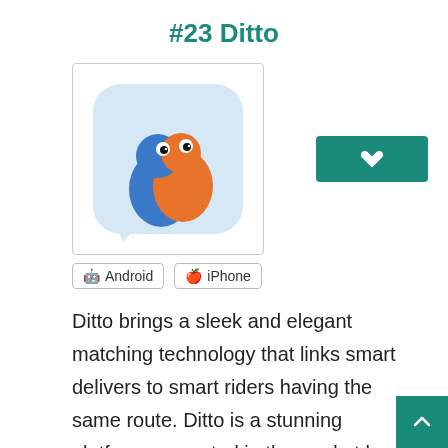#23 Ditto
[Figure (illustration): Ditto app icon showing two cartoon parrots (blue and orange) against a light blue speech bubble background, inside a white rounded square with border]
Android
iPhone
Ditto brings a sleek and elegant matching technology that links smart delivers to smart riders having the same route. Ditto is a stunning platform presented in the market by Ditto Software Inc. It brings an exceptional platform that makes instant integration with all the car